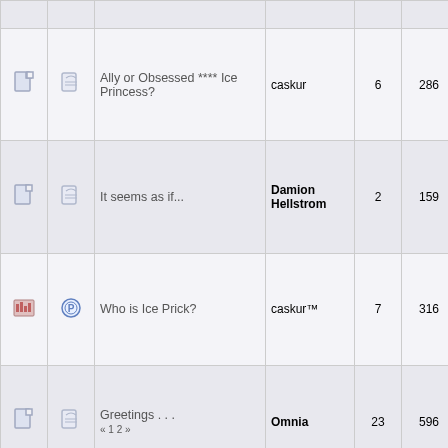|  |  | Topic | Author | Replies | Views | Last Post |
| --- | --- | --- | --- | --- | --- | --- |
|  |  | caskur™ (partial top) |  |  |  |  |
|  |  | Ally or Obsessed **** Ice Princess? | caskur | 6 | 286 | July 30, 2008, 06:22:50 pm by caskur |
|  |  | It seems as if... | Damion Hellstrom | 2 | 159 | July 30, 2008, 02:32:45 pm by caskur™ |
|  |  | Who is Ice Prick? | caskur™ | 7 | 316 | July 30, 2008, 07:56:09 am by caskur |
|  |  | Greetings . . . « 1 2 » | Omnia | 23 | 596 | July 29, 2008, 09:21:10 am by caskur |
|  |  | Cathy | AmazingSting | 3 | 190 | July 03, 2008, 10:29:12 pm by caskur |